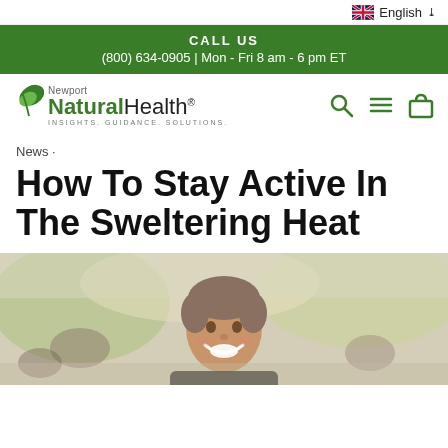English
CALL US
(800) 634-0905 | Mon - Fri 8 am - 6 pm ET
[Figure (logo): Newport Natural Health logo with green leaf icon and tagline INSIGHTS. GUIDANCE. SOLUTIONS.]
News ·
How To Stay Active In The Sweltering Heat
[Figure (photo): Smiling woman with short hair in foreground, group of people exercising outdoors in background]